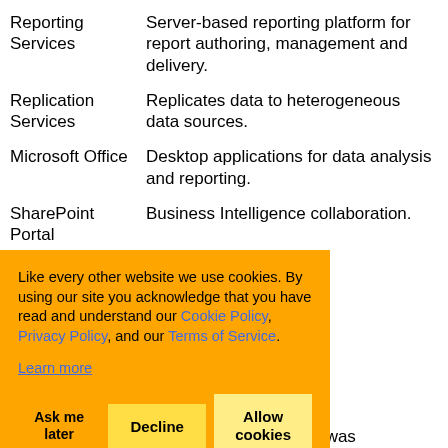| Term | Description |
| --- | --- |
| Reporting Services | Server-based reporting platform for report authoring, management and delivery. |
| Replication Services | Replicates data to heterogeneous data sources. |
| Microsoft Office | Desktop applications for data analysis and reporting. |
| SharePoint Portal | Business Intelligence collaboration. |
| … | …eate .NET-…ding analytical… |
| … | …than one of …ur data …eed, most of them have been around for a while. What was |
Like every other website we use cookies. By using our site you acknowledge that you have read and understand our Cookie Policy, Privacy Policy, and our Terms of Service. Learn more
than one of …ur data …eed, most of them have been around for a while. What was